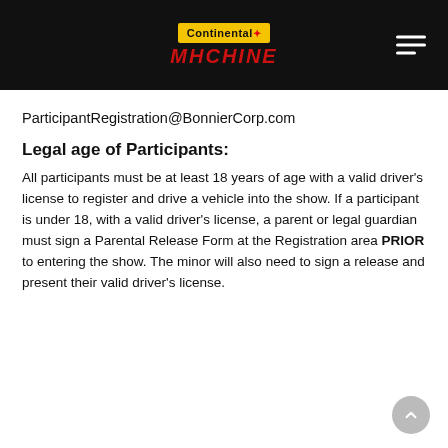Continental Machine
ParticipantRegistration@BonnierCorp.com
Legal age of Participants:
All participants must be at least 18 years of age with a valid driver's license to register and drive a vehicle into the show. If a participant is under 18, with a valid driver's license, a parent or legal guardian must sign a Parental Release Form at the Registration area PRIOR to entering the show. The minor will also need to sign a release and present their valid driver's license.